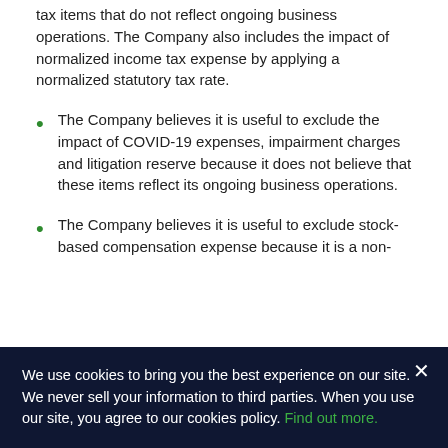tax items that do not reflect ongoing business operations. The Company also includes the impact of normalized income tax expense by applying a normalized statutory tax rate.
The Company believes it is useful to exclude the impact of COVID-19 expenses, impairment charges and litigation reserve because it does not believe that these items reflect its ongoing business operations.
The Company believes it is useful to exclude stock-based compensation expense because it is a non-
We use cookies to bring you the best experience on our site. We never sell your information to third parties. When you use our site, you agree to our cookies policy. Find out more.